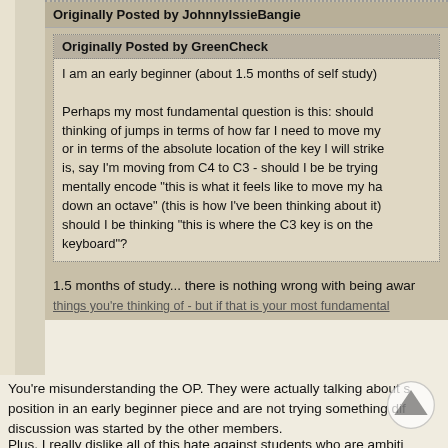Originally Posted by JohnnyIssieBangie
Originally Posted by GreenCheck
I am an early beginner (about 1.5 months of self study)
Perhaps my most fundamental question is this: should thinking of jumps in terms of how far I need to move my or in terms of the absolute location of the key I will strike is, say I'm moving from C4 to C3 - should I be be trying mentally encode "this is what it feels like to move my hand down an octave" (this is how I've been thinking about it) should I be thinking "this is where the C3 key is on the keyboard"?
1.5 months of study... there is nothing wrong with being aware things you're thinking of - but if that is your most fundamental
You're misunderstanding the OP. They were actually talking about staying in position in an early beginner piece and are not trying something difficult. The discussion was started by the other members.
Plus, I really dislike all of this hate against students who are ambitious. I was trying to play without looking at the keys after 1 month. I was able to coordinate left hand jumps (lh octave + chord two octaves above) after staying in one hand position after about 1-2 months. I still think jumps are